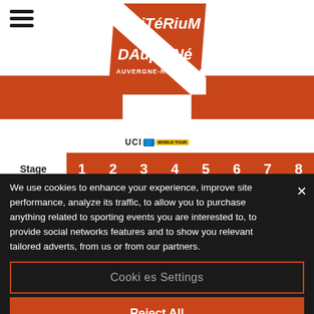[Figure (logo): Critérium du Dauphiné logo — orange/white diagonal design with 'CriTéRiuM du DAuphiNé' text and 'AUVERGNE-RHÔNE-ALPES' subtitle, plus UCI WorldTour badge]
|  | 1 | 2 | 3 | 4 | 5 | 6 | 7 | 8 |
| --- | --- | --- | --- | --- | --- | --- | --- | --- |
| Stage | 1 | 2 | 3 | 4 | 5 | 6 | 7 | 8 |
| Ranking | 107 | 93 | 80 | 94 | 110 | 125 | 58 | 80 |
| [jersey] | 107 | 97 | 78 | 74 | 82 | 92 | 67 | 75 |
We use cookies to enhance your experience, improve site performance, analyze its traffic, to allow you to purchase anything related to sporting events you are interested to, to provide social networks features and to show you relevant tailored adverts, from us or from our partners.
Cookies Settings
Reject All